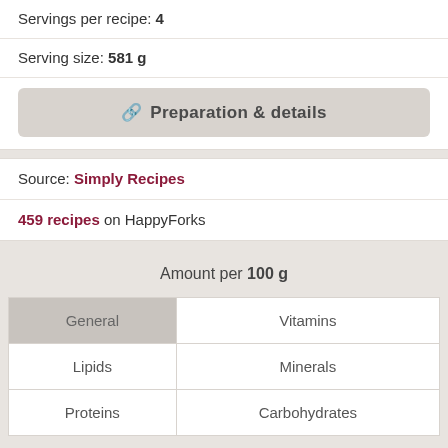Servings per recipe: 4
Serving size: 581 g
Preparation & details
Source: Simply Recipes
459 recipes on HappyForks
Amount per 100 g
| General | Vitamins |
| Lipids | Minerals |
| Proteins | Carbohydrates |